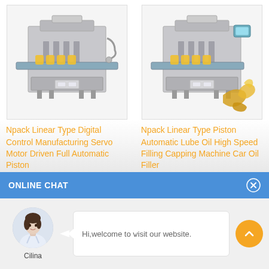[Figure (photo): Npack Linear Type Digital Control Manufacturing Servo Motor Driven Full Automatic Piston filling machine - industrial grey metal machine with conveyor and yellow bottles]
Npack Linear Type Digital Control Manufacturing Servo Motor Driven Full Automatic Piston
[Figure (photo): Npack Linear Type Piston Automatic Lube Oil High Speed Filling Capping Machine Car Oil Filler - industrial machine with golden oil splash graphic]
Npack Linear Type Piston Automatic Lube Oil High Speed Filling Capping Machine Car Oil Filler
ONLINE CHAT
[Figure (illustration): Avatar photo of a young woman named Cilina, wearing a white shirt, in a circular crop]
Hi,welcome to visit our website.
Cilina